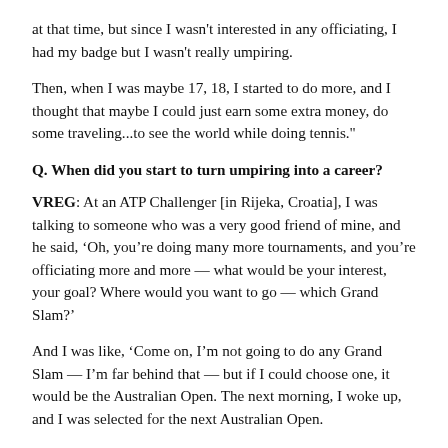at that time, but since I wasn't interested in any officiating, I had my badge but I wasn't really umpiring.
Then, when I was maybe 17, 18, I started to do more, and I thought that maybe I could just earn some extra money, do some traveling...to see the world while doing tennis."
Q. When did you start to turn umpiring into a career?
VREG: At an ATP Challenger [in Rijeka, Croatia], I was talking to someone who was a very good friend of mine, and he said, ‘Oh, you’re doing many more tournaments, and you’re officiating more and more — what would be your interest, your goal? Where would you want to go — which Grand Slam?’
And I was like, ‘Come on, I’m not going to do any Grand Slam — I’m far behind that — but if I could choose one, it would be the Australian Open. The next morning, I woke up, and I was selected for the next Australian Open.
I applied thinking I don’t have a chance — at that time, I was already a white badge, doing quite a lot of lines at tournaments around the area, and I applied, but I said, ‘I don’t have a chance. I come from small Slovenia, you know,